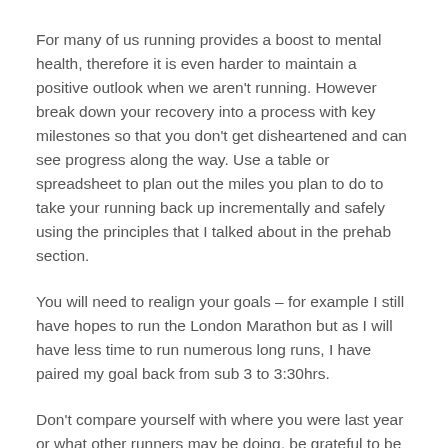For many of us running provides a boost to mental health, therefore it is even harder to maintain a positive outlook when we aren't running. However break down your recovery into a process with key milestones so that you don't get disheartened and can see progress along the way. Use a table or spreadsheet to plan out the miles you plan to do to take your running back up incrementally and safely using the principles that I talked about in the prehab section.
You will need to realign your goals – for example I still have hopes to run the London Marathon but as I will have less time to run numerous long runs, I have paired my goal back from sub 3 to 3:30hrs.
Don't compare yourself with where you were last year or what other runners may be doing, be grateful to be able to run at all, even in small increments.